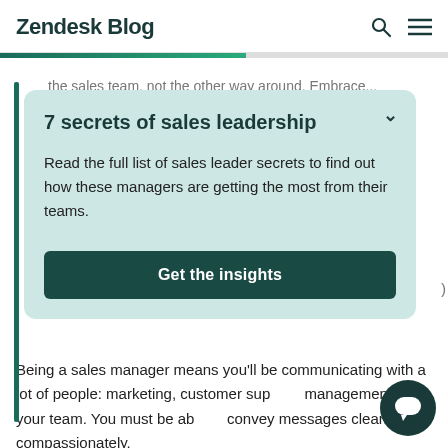Zendesk Blog
7 secrets of sales leadership
Read the full list of sales leader secrets to find out how these managers are getting the most from their teams.
Get the insights
Being a sales manager means you'll be communicating with a lot of people: marketing, customer support, management, and your team. You must be able to convey messages clearly and compassionately.